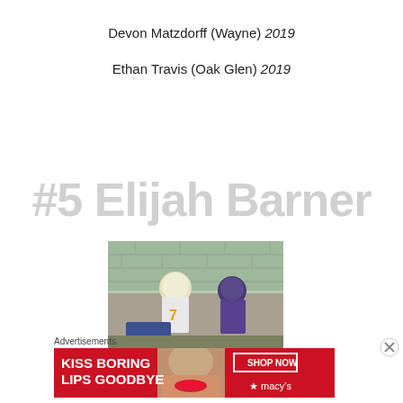Devon Matzdorff (Wayne) 2019
Ethan Travis (Oak Glen) 2019
#5 Elijah Barner
[Figure (photo): Football players in action near a brick wall, one in white/yellow uniform, one in purple uniform]
Advertisements
[Figure (photo): Macy's advertisement: KISS BORING LIPS GOODBYE with SHOP NOW button and Macy's star logo, red background with woman's face]